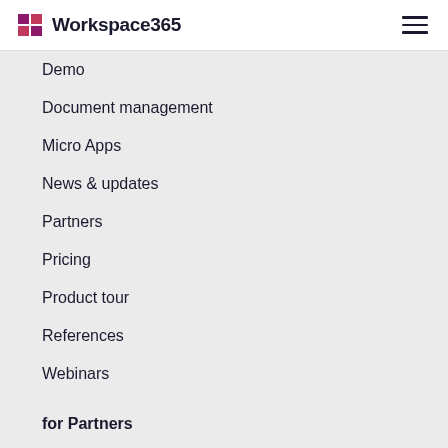Workspace365
Demo
Document management
Micro Apps
News & updates
Partners
Pricing
Product tour
References
Webinars
for Partners
Hybrid workspace
Marketing & sales support